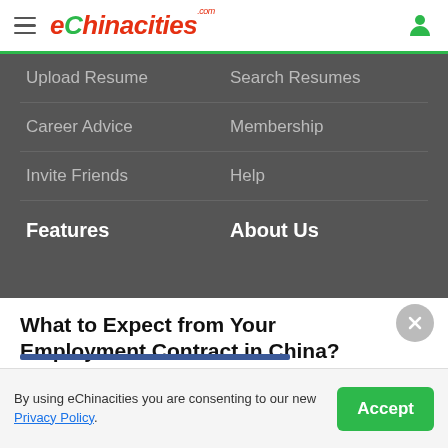eChinacities.com
Upload Resume
Search Resumes
Career Advice
Membership
Invite Friends
Help
Features
About Us
What to Expect from Your Employment Contract in China?
Sign up a free account and receive the free career advice from other expats.
Sign up with Google
By using eChinacities you are consenting to our new Privacy Policy.